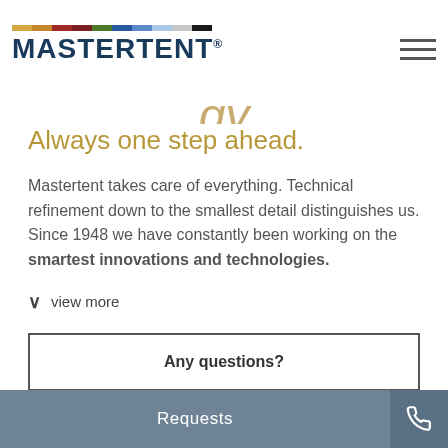MASTERTENT
Always one step ahead.
Mastertent takes care of everything. Technical refinement down to the smallest detail distinguishes us. Since 1948 we have constantly been working on the smartest innovations and technologies.
view more
Any questions?
Requests